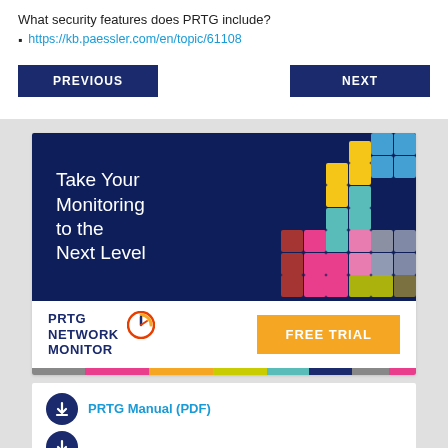What security features does PRTG include?
https://kb.paessler.com/en/topic/61108
PREVIOUS | NEXT (navigation buttons)
[Figure (infographic): PRTG Network Monitor advertisement banner with colorful Tetris-like block grid graphic and 'Take Your Monitoring to the Next Level' text, PRTG Network Monitor logo, and orange FREE TRIAL button]
PRTG Manual (PDF)